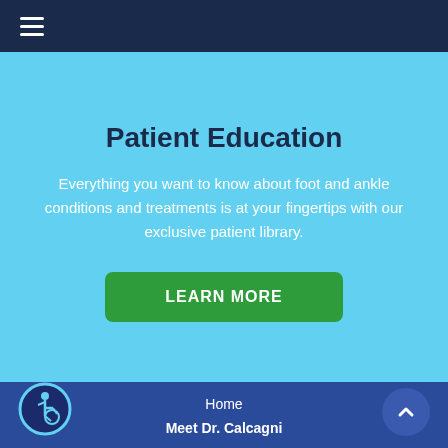≡ (hamburger menu)
Patient Education
Everything you want to know about foot and ankle conditions and treatments is at your fingertips with our exclusive patient library.
LEARN MORE
Home
Meet Dr. Calcagni
[Figure (illustration): Accessibility icon — wheelchair user symbol in a circle with cyan border on dark blue background]
[Figure (illustration): Scroll-to-top button — dark blue circle with white upward chevron arrow]